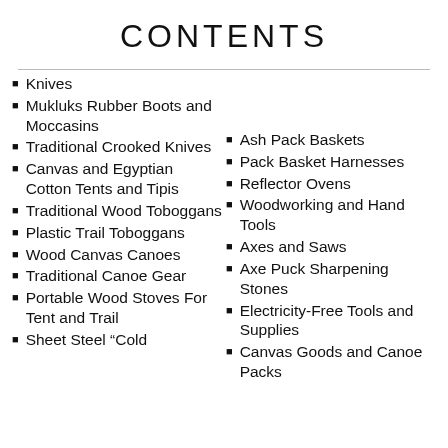CONTENTS
Knives
Mukluks Rubber Boots and Moccasins
Traditional Crooked Knives
Canvas and Egyptian Cotton Tents and Tipis
Traditional Wood Toboggans
Plastic Trail Toboggans
Wood Canvas Canoes
Traditional Canoe Gear
Portable Wood Stoves For Tent and Trail
Sheet Steel “Cold
Ash Pack Baskets
Pack Basket Harnesses
Reflector Ovens
Woodworking and Hand Tools
Axes and Saws
Axe Puck Sharpening Stones
Electricity-Free Tools and Supplies
Canvas Goods and Canoe Packs